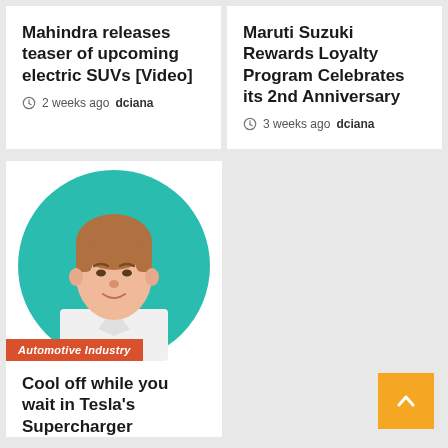Mahindra releases teaser of upcoming electric SUVs [Video]
2 weeks ago  dciana
Maruti Suzuki Rewards Loyalty Program Celebrates its 2nd Anniversary
3 weeks ago  dciana
[Figure (illustration): Illustrated avatar of a man with brown hair on a teal circular background, wearing a white shirt]
Automotive Industry
Cool off while you wait in Tesla's Supercharger